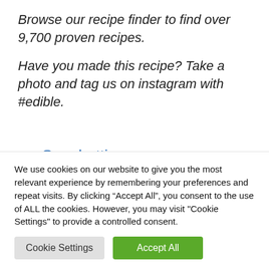Browse our recipe finder to find over 9,700 proven recipes.
Have you made this recipe? Take a photo and tag us on instagram with #edible.
Spaghetti
These prawn chivies and spaghetti
We use cookies on our website to give you the most relevant experience by remembering your preferences and repeat visits. By clicking “Accept All”, you consent to the use of ALL the cookies. However, you may visit "Cookie Settings" to provide a controlled consent.